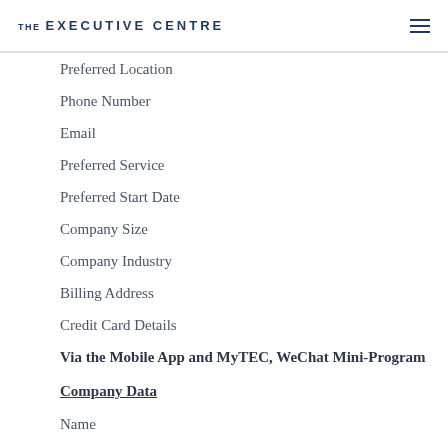THE EXECUTIVE CENTRE
Preferred Location
Phone Number
Email
Preferred Service
Preferred Start Date
Company Size
Company Industry
Billing Address
Credit Card Details
Via the Mobile App and MyTEC, WeChat Mini-Program
Company Data
Name
Localized Name
Preferred Contact Language
Email
Phone Number